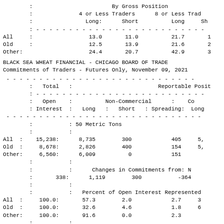|  |  | By Gross Position |  |  |  |
| --- | --- | --- | --- | --- | --- |
|  |  | 4 or Less Traders |  | 8 or Less Tra |  |
|  |  | Long: | Short | Long | Sh |
| All |  | 13.0 | 11.0 | 21.7 | 1 |
| Old |  | 12.5 | 13.9 | 21.6 | 2 |
| Other: |  | 24.4 | 20.7 | 42.9 | 3 |
BLACK SEA WHEAT FINANCIAL - CHICAGO BOARD OF TRADE
Commitments of Traders - Futures Only, November 09, 2021
|  | Total |  | Reportable Posit |
| --- | --- | --- | --- |
|  | Open |  | Non-Commercial |  | Co |
|  | Interest | Long | Short | Spreading: | Long |
|  |  | 50 Metric Tons |  |  |  |
| All | 15,238: | 8,735 | 300 | 405 | 5, |
| Old | 8,678: | 2,826 | 400 | 154 | 5, |
| Other: | 6,560: | 6,009 | 0 | 151 |  |
|  | 338: | 1,119 | 300 | -364 |  |
| All | 100.0: | 57.3 | 2.0 | 2.7 | 3 |
| Old | 100.0: | 32.6 | 4.6 | 1.8 | 6 |
| Other: | 100.0: | 91.6 | 0.0 | 2.3 |  |